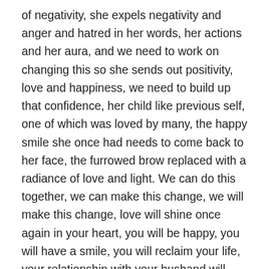of negativity, she expels negativity and anger and hatred in her words, her actions and her aura, and we need to work on changing this so she sends out positivity, love and happiness, we need to build up that confidence, her child like previous self, one of which was loved by many, the happy smile she once had needs to come back to her face, the furrowed brow replaced with a radiance of love and light. We can do this together, we can make this change, we will make this change, love will shine once again in your heart, you will be happy, you will have a smile, you will reclaim your life, your relationship with your husband will repair and you will love your baby together as a family once more….you will…. you will 🙂
This my dear friends is the start of my friends new journey of life, she has chosen to take the road of family life once again, I will help and guide her along the way and she is